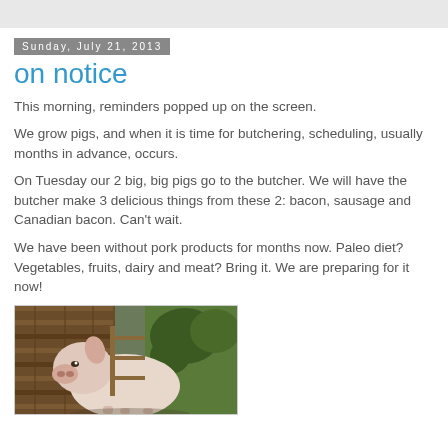Sunday, July 21, 2013
on notice
This morning, reminders popped up on the screen.
We grow pigs, and when it is time for butchering, scheduling, usually months in advance, occurs.
On Tuesday our 2 big, big pigs go to the butcher. We will have the butcher make 3 delicious things from these 2: bacon, sausage and Canadian bacon. Can't wait.
We have been without pork products for months now. Paleo diet? Vegetables, fruits, dairy and meat? Bring it. We are preparing for it now!
[Figure (photo): A pig near a wooden barn structure with greenery in the background]